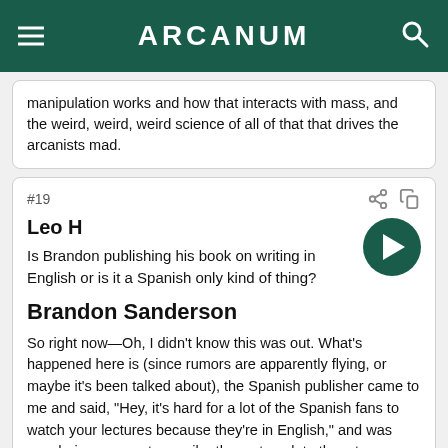ARCANUM
manipulation works and how that interacts with mass, and the weird, weird, weird science of all of that that drives the arcanists mad.
#19
Leo H
Is Brandon publishing his book on writing in English or is it a Spanish only kind of thing?
Brandon Sanderson
So right now—Oh, I didn't know this was out. What's happened here is (since rumors are apparently flying, or maybe it's been talked about), the Spanish publisher came to me and said, "Hey, it's hard for a lot of the Spanish fans to watch your lectures because they're in English," and was wondering can we transcribe these, translate them to Spanish, and actually turn them into prose rather than just monologue, and see if we can turn them into a writing book. And I gave my blessing to this